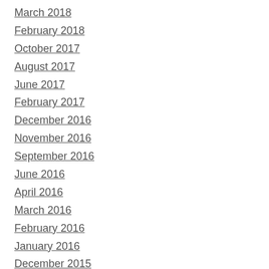March 2018
February 2018
October 2017
August 2017
June 2017
February 2017
December 2016
November 2016
September 2016
June 2016
April 2016
March 2016
February 2016
January 2016
December 2015
November 2015
October 2015
September 2015
July 2015